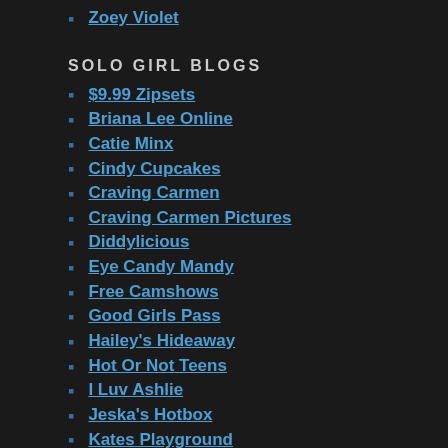Zoey Violet
SOLO GIRL BLOGS
$9.99 Zipsets
Briana Lee Online
Catie Minx
Cindy Cupcakes
Craving Carmen
Craving Carmen Pictures
Diddylicious
Eye Candy Mandy
Free Camshows
Good Girls Pass
Hailey's Hideaway
Hot Or Not Teens
I Luv Ashlie
Jeska's Hotbox
Kates Playground
Kates Playground Pictures
Shyla Jennings
Shyla Jennings Pictures